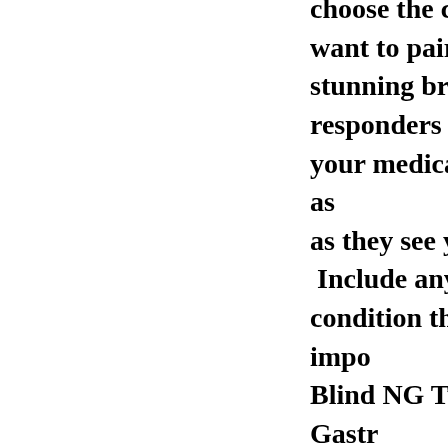choose the color tag you want to pair with this stunning bracelet.  First responders will be alerted to your medical needs as soon as they see your wrist.  Include any medical condition that is important: Blind NG Tube, Gastrostomy, Epi-Pen - Call 911, Allergies, Heart Patient, MS, Pacemaker, No Needles Left Arm, No